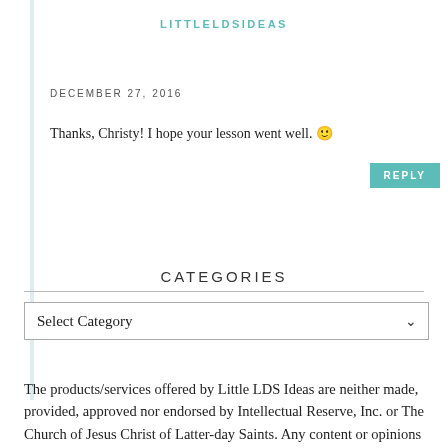LITTLELDSIDEAS
DECEMBER 27, 2016
Thanks, Christy! I hope your lesson went well. 🙂
CATEGORIES
The products/services offered by Little LDS Ideas are neither made, provided, approved nor endorsed by Intellectual Reserve, Inc. or The Church of Jesus Christ of Latter-day Saints. Any content or opinions expressed, implied or included